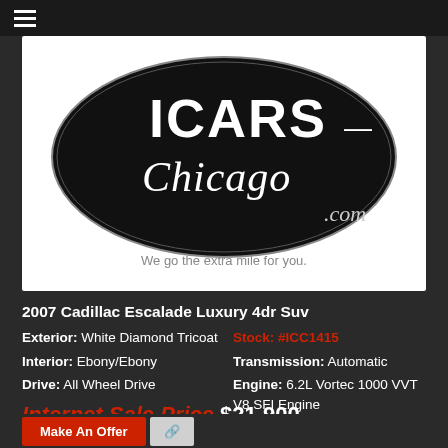[Figure (logo): iCars Chicago logo — black oval with 'ICARS' in white block letters and 'Chicago' in white italic script below, '.com' in bottom right, tagline 'We go the extra mile for you.' in grey below the oval, all on white background]
2007 Cadillac Escalade Luxury 4dr Suv
Exterior: White Diamond Tricoat    Stock: #ICC1415
Interior: Ebony/Ebony    Transmission: Automatic
Drive: All Wheel Drive    Engine: 6.2L Vortec 1000 VVT V8 SFI Engine
Model: 6K10706    Mileage: 55,191 mi
VIN: 1GYFK63827R347189
Internet Sale Price $21,900